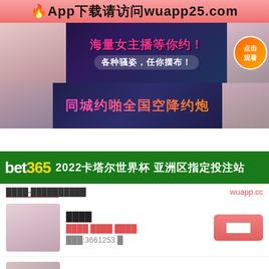🔥App下载请访问wuapp25.com
[Figure (illustration): Adult dating advertisement banner with Chinese text: 海量女主播等你约！各种骚姿，任你摆布！ with female figures and circle badge 点击观看]
[Figure (illustration): Adult dating advertisement banner with Chinese text: 同城约啪全国空降约炮]
[Figure (illustration): bet365 2022卡塔尔世界杯 亚洲区指定投注站 advertisement banner]
████-██████████
wuapp.cc
[Figure (photo): Female profile photo thumbnail]
████
████ ████ ████
███:3661253 █
[Figure (photo): Female profile photo thumbnail 2]
████